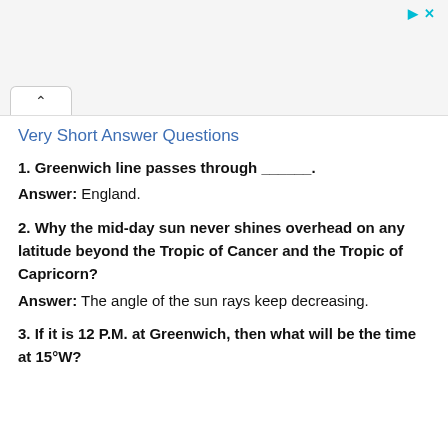Very Short Answer Questions
1. Greenwich line passes through _______.
Answer: England.
2. Why the mid-day sun never shines overhead on any latitude beyond the Tropic of Cancer and the Tropic of Capricorn?
Answer: The angle of the sun rays keep decreasing.
3. If it is 12 P.M. at Greenwich, then what will be the time at 15°W?